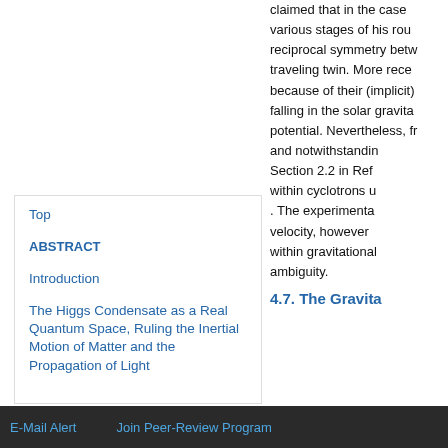claimed that in the case various stages of his rou reciprocal symmetry betw traveling twin. More rece because of their (implicit) falling in the solar gravita potential. Nevertheless, f and notwithstandin Section 2.2 in Ref within cyclotrons u . The experimenta velocity, however within gravitational ambiguity.
Top
ABSTRACT
Introduction
The Higgs Condensate as a Real Quantum Space, Ruling the Inertial Motion of Matter and the Propagation of Light
4.7. The Gravita
E-Mail Alert   Join Peer-Review Program